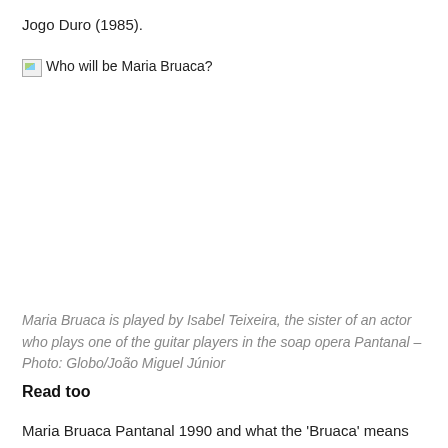Jogo Duro (1985).
[Figure (photo): Broken/unloaded image with alt text 'Who will be Maria Bruaca?']
Maria Bruaca is played by Isabel Teixeira, the sister of an actor who plays one of the guitar players in the soap opera Pantanal – Photo: Globo/João Miguel Júnior
Read too
Maria Bruaca Pantanal 1990 and what the 'Bruaca' means